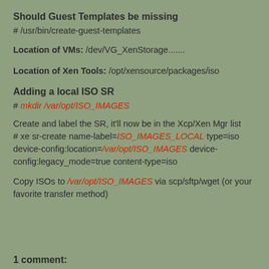Should Guest Templates be missing
# /usr/bin/create-guest-templates
Location of VMs: /dev/VG_XenStorage.......
Location of Xen Tools: /opt/xensource/packages/iso
Adding a local ISO SR
# mkdir /var/opt/ISO_IMAGES
Create and label the SR, it'll now be in the Xcp/Xen Mgr list
# xe sr-create name-label=ISO_IMAGES_LOCAL type=iso device-config:location=/var/opt/ISO_IMAGES device-config:legacy_mode=true content-type=iso
Copy ISOs to /var/opt/ISO_IMAGES via scp/sftp/wget (or your favorite transfer method)
1 comment: